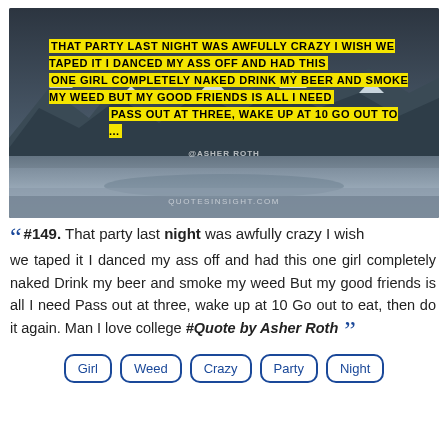[Figure (photo): Dark mountain landscape with snow-capped peaks under overcast sky. Yellow-highlighted quote text overlaid: 'THAT PARTY LAST NIGHT WAS AWFULLY CRAZY I WISH WE TAPED IT I DANCED MY ASS OFF AND HAD THIS ONE GIRL COMPLETELY NAKED DRINK MY BEER AND SMOKE MY WEED BUT MY GOOD FRIENDS IS ALL I NEED PASS OUT AT THREE, WAKE UP AT 10 GO OUT TO ...' Watermark @ASHER ROTH. Site label QUOTESINSIGHT.COM.]
" #149. That party last night was awfully crazy I wish we taped it I danced my ass off and had this one girl completely naked Drink my beer and smoke my weed But my good friends is all I need Pass out at three, wake up at 10 Go out to eat, then do it again. Man I love college #Quote by Asher Roth "
Girl
Weed
Crazy
Party
Night